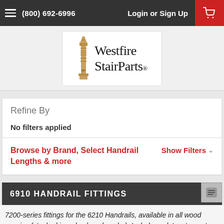(800) 692-6996   Login or Sign Up
[Figure (logo): Westfire StairParts logo with wooden stair post illustration]
Refine By
No filters applied
Browse by Brand, Select Handrail Lengths & more   Show Filters
6910 HANDRAIL FITTINGS
7200-series fittings for the 6210 Handrails, available in all wood species (stocked in red oak and poplar). Includes volutes, turnouts, goosenecks,